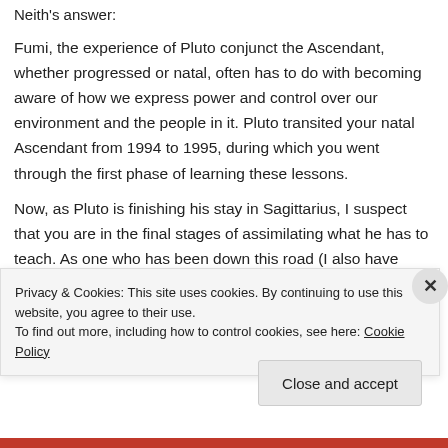Neith's answer:
Fumi, the experience of Pluto conjunct the Ascendant, whether progressed or natal, often has to do with becoming aware of how we express power and control over our environment and the people in it. Pluto transited your natal Ascendant from 1994 to 1995, during which you went through the first phase of learning these lessons.
Now, as Pluto is finishing his stay in Sagittarius, I suspect that you are in the final stages of assimilating what he has to teach. As one who has been down this road (I also have Scorpio Rising), I found the key is staying neutral and not
Privacy & Cookies: This site uses cookies. By continuing to use this website, you agree to their use.
To find out more, including how to control cookies, see here: Cookie Policy
Close and accept